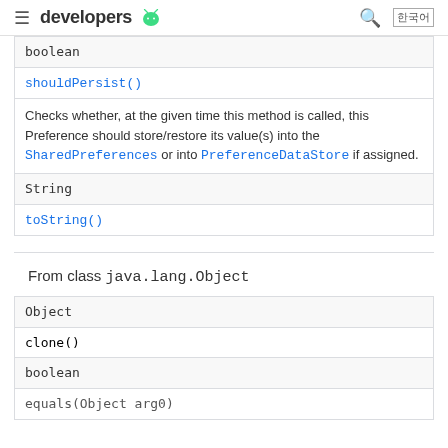≡ developers 🤖  🔍
| boolean |
| shouldPersist() | Checks whether, at the given time this method is called, this Preference should store/restore its value(s) into the SharedPreferences or into PreferenceDataStore if assigned. |
| String |
| toString() |
From class java.lang.Object
| Object |
| clone() |
| boolean |
| equals(Object arg0) |